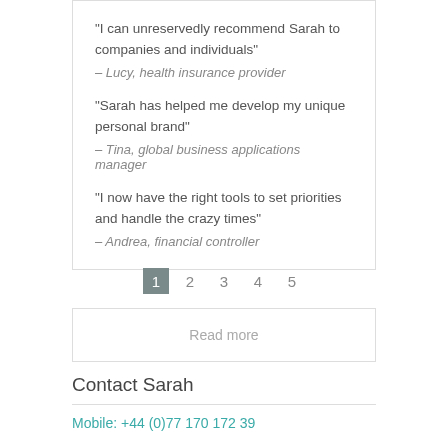“I can unreservedly recommend Sarah to companies and individuals” – Lucy, health insurance provider
“Sarah has helped me develop my unique personal brand” – Tina, global business applications manager
“I now have the right tools to set priorities and handle the crazy times” – Andrea, financial controller
1 2 3 4 5
Read more
Contact Sarah
Mobile: +44 (0)77 170 172 39